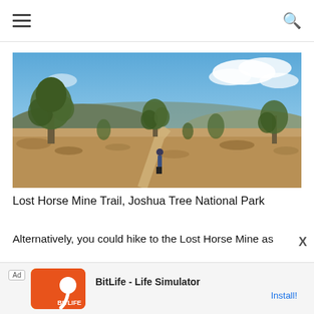Navigation bar with hamburger menu and search icon
[Figure (photo): Person hiking on a desert trail through Joshua Tree National Park, with large Joshua trees, dry brush, mountains in the background, and a blue sky with white clouds.]
Lost Horse Mine Trail, Joshua Tree National Park
Alternatively, you could hike to the Lost Horse Mine as
[Figure (other): Advertisement banner: BitLife - Life Simulator app ad with Install button.]